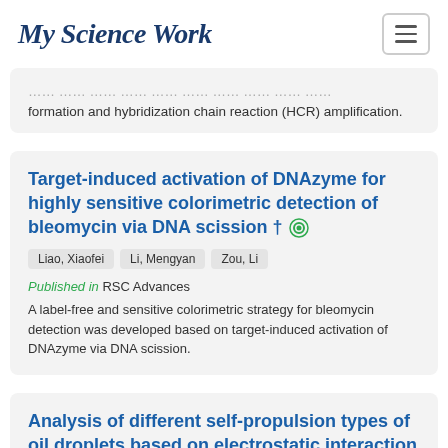My Science Work
formation and hybridization chain reaction (HCR) amplification.
Target-induced activation of DNAzyme for highly sensitive colorimetric detection of bleomycin via DNA scission †
Liao, Xiaofei
Li, Mengyan
Zou, Li
Published in RSC Advances
A label-free and sensitive colorimetric strategy for bleomycin detection was developed based on target-induced activation of DNAzyme via DNA scission.
Analysis of different self-propulsion types of oil droplets based on electrostatic interaction effects